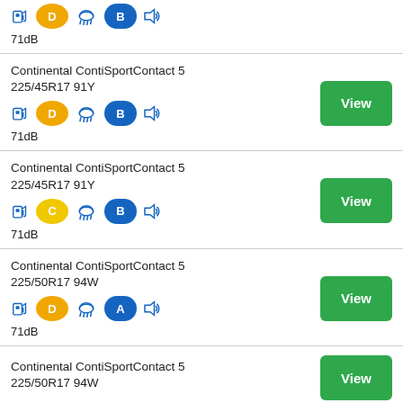71dB
Continental ContiSportContact 5 225/45R17 91Y, D, B, 71dB
Continental ContiSportContact 5 225/45R17 91Y, C, B, 71dB
Continental ContiSportContact 5 225/50R17 94W, D, A, 71dB
Continental ContiSportContact 5 225/50R17 94W